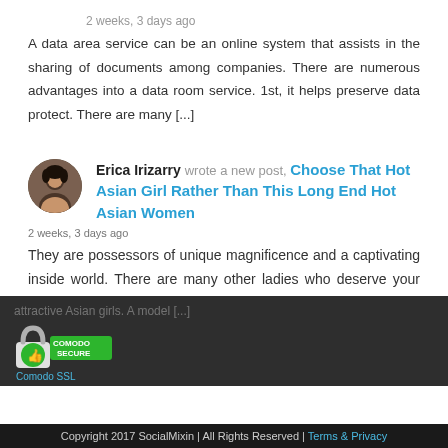2 weeks, 3 days ago
A data area service can be an online system that assists in the sharing of documents among companies. There are numerous advantages into a data room service. 1st, it helps preserve data protect. There are many [...]
Erica Irizarry wrote a new post, Choose That Hot Asian Girl Rather Than This Long End Hot Asian Women
2 weeks, 3 days ago
They are possessors of unique magnificence and a captivating inside world. There are many other ladies who deserve your consideration but we hope you take pleasure in these 35 attractive Asian girls. A model [...]
[Figure (logo): Comodo Secure badge with thumbs up icon and green/white design]
Comodo SSL
Copyright 2017 SocialMixin | All Rights Reserved | Terms & Privacy